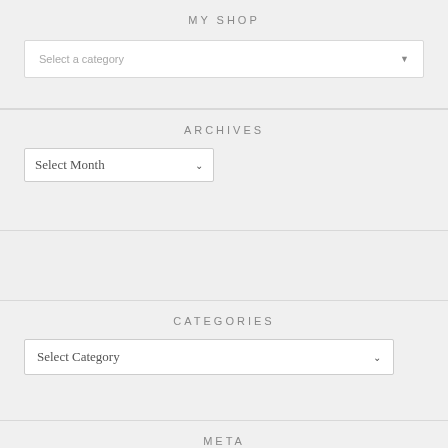MY SHOP
[Figure (screenshot): Dropdown selector with placeholder text 'Select a category' and a dropdown arrow on the right]
ARCHIVES
[Figure (screenshot): Dropdown selector with placeholder text 'Select Month' and a dropdown arrow on the right]
CATEGORIES
[Figure (screenshot): Dropdown selector with placeholder text 'Select Category' and a dropdown arrow on the right]
META